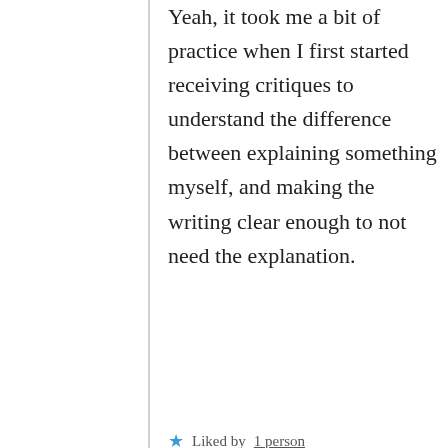Yeah, it took me a bit of practice when I first started receiving critiques to understand the difference between explaining something myself, and making the writing clear enough to not need the explanation.
★ Liked by 1 person
Reply
Privacy & Cookies: This site uses cookies. By continuing to use this website, you agree to their use.
To find out more, including how to control cookies, see here: Cookie Policy
Close and accept